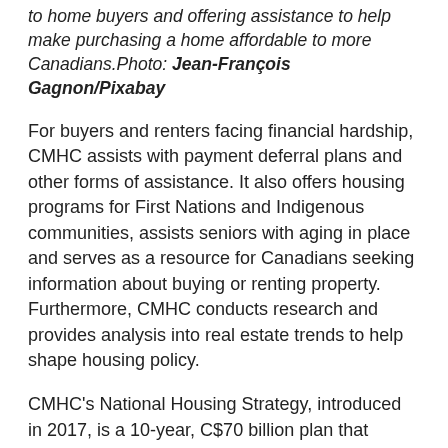to home buyers and offering assistance to help make purchasing a home affordable to more Canadians.Photo: Jean-François Gagnon/Pixabay
For buyers and renters facing financial hardship, CMHC assists with payment deferral plans and other forms of assistance. It also offers housing programs for First Nations and Indigenous communities, assists seniors with aging in place and serves as a resource for Canadians seeking information about buying or renting property. Furthermore, CMHC conducts research and provides analysis into real estate trends to help shape housing policy.
CMHC's National Housing Strategy, introduced in 2017, is a 10-year, C$70 billion plan that includes a program to reduce first-time home buyers' down payment size, expand the housing supply, renovate existing affordable housing and reduce homelessness, in addition to providing resources to community housing…